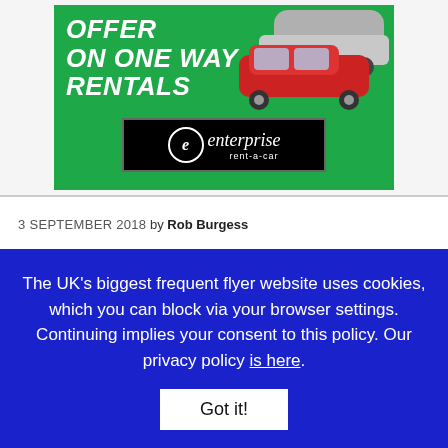[Figure (advertisement): Enterprise rent-a-car advertisement banner on green background showing cars and text 'OFFER ON ONE WAY RENTALS' with Enterprise rent-a-car logo]
3 SEPTEMBER 2018 by Rob Burgess
What are the best World Traveller
The UK's biggest frequent flyer website uses cookies, which you can block via your browser settings. Continuing implies your consent to this policy. Our privacy policy is here.